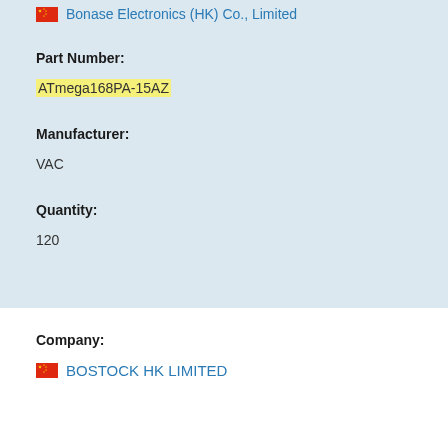Bonase Electronics (HK) Co., Limited
Part Number:
ATmega168PA-15AZ
Manufacturer:
VAC
Quantity:
120
Company:
BOSTOCK HK LIMITED